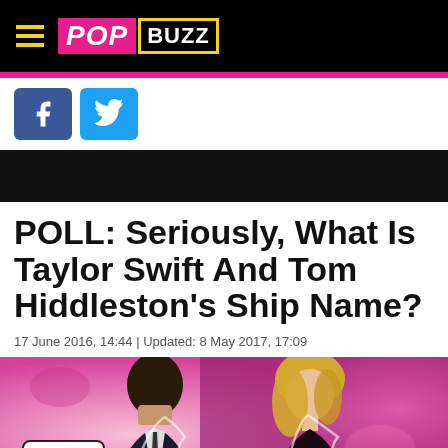POPBUZZ
[Figure (screenshot): Facebook and Twitter social share buttons]
POLL: Seriously, What Is Taylor Swift And Tom Hiddleston's Ship Name?
17 June 2016, 14:44 | Updated: 8 May 2017, 17:09
[Figure (photo): Promotional image of Tom Hiddleston and Taylor Swift on a pink background with #SWOKI? speech bubble hashtag label]